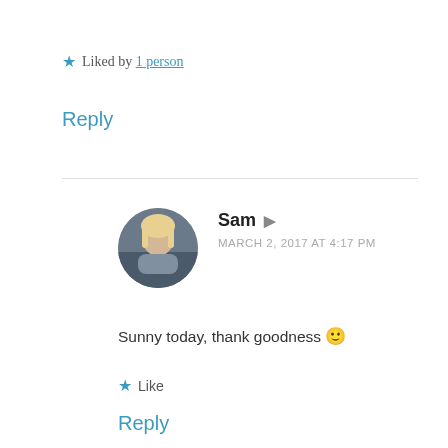★ Liked by 1 person
Reply
Sam  MARCH 2, 2017 AT 4:17 PM
Sunny today, thank goodness 🙂
★ Like
Reply
Cathy  FEBRUARY 28, 2017 AT 3:15 PM